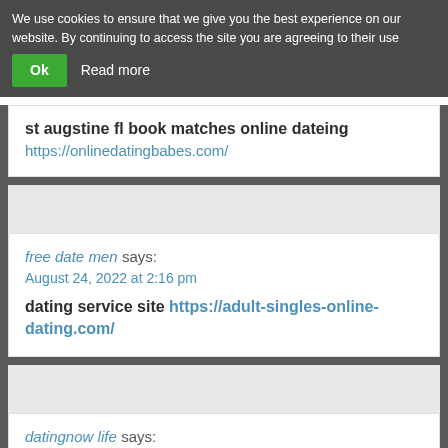We use cookies to ensure that we give you the best experience on our website. By continuing to access the site you are agreeing to their use
Ok   Read more
st augstine fl book matches online dateing
https://onlinedatingbabes.com/
free date men says:
August 24, 2022 at 2:16 pm

dating service site https://adult-singles-online-dating.com/
datingnow life says:
August 24, 2022 at 5:14 pm